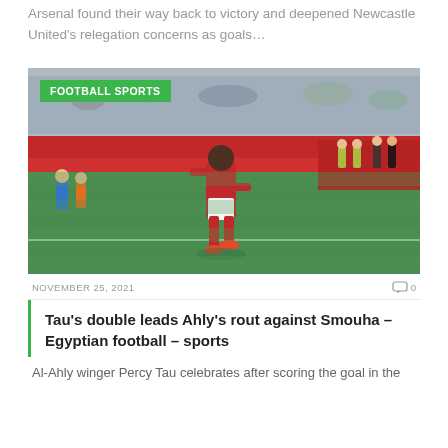Arsenal found their way back to victory and deepened Newcastle United's relegation concerns as goals…
[Figure (photo): Football player in red Al-Ahly kit walking on pitch, with spectators and coaching staff in background. Green badge reading 'FOOTBALL SPORTS' overlaid top-left.]
NOVEMBER 25, 2021   0
Tau's double leads Ahly's rout against Smouha – Egyptian football – sports
Al-Ahly winger Percy Tau celebrates after scoring the goal in the